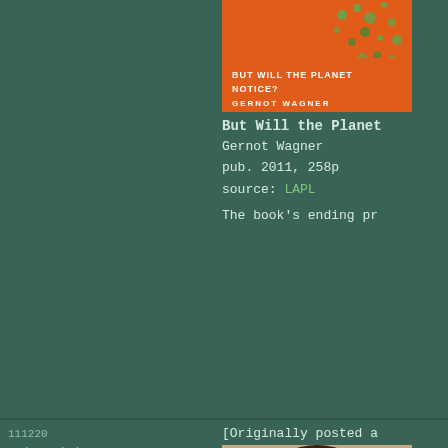[Figure (photo): Book cover for 'But Will the Planet Notice?' by Gernot Wagner - orange cover with scattered dark dot pattern]
But Will the Planet
Gernot Wagner
pub. 2011, 258p
source: LAPL
The book's ending pr
111220
Moby Dick
[Originally posted a
[Figure (photo): Book cover for Moby Dick by Herman Melville - portrait of bearded man on cover, white strip at bottom with title and introduced by Edward Said]
Moby Dick
Herman Melville
pub. 1851, 620p
source: LAPL